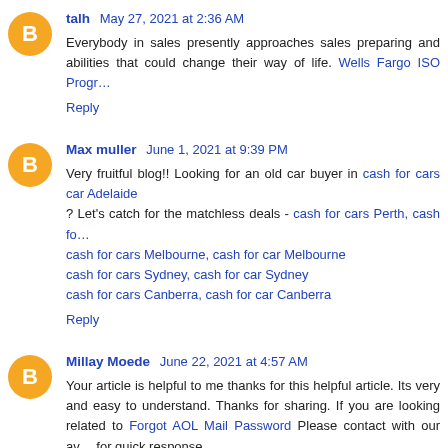talh  May 27, 2021 at 2:36 AM
Everybody in sales presently approaches sales preparing and abilities that could change their way of life. Wells Fargo ISO Progr...
Reply
Max muller  June 1, 2021 at 9:39 PM
Very fruitful blog!! Looking for an old car buyer in cash for cars car Adelaide ? Let's catch for the matchless deals - cash for cars Perth, cash fo...
cash for cars Melbourne, cash for car Melbourne
cash for cars Sydney, cash for car Sydney
cash for cars Canberra, cash for car Canberra
Reply
Millay Moede  June 22, 2021 at 4:57 AM
Your article is helpful to me thanks for this helpful article. Its very and easy to understand. Thanks for sharing. If you are looking related to Forgot AOL Mail Password Please contact with our av... for quick response.
Reply